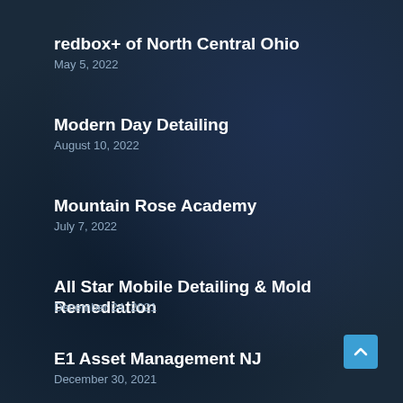redbox+ of North Central Ohio
May 5, 2022
Modern Day Detailing
August 10, 2022
Mountain Rose Academy
July 7, 2022
All Star Mobile Detailing & Mold Remediation
December 24, 2021
E1 Asset Management NJ
December 30, 2021